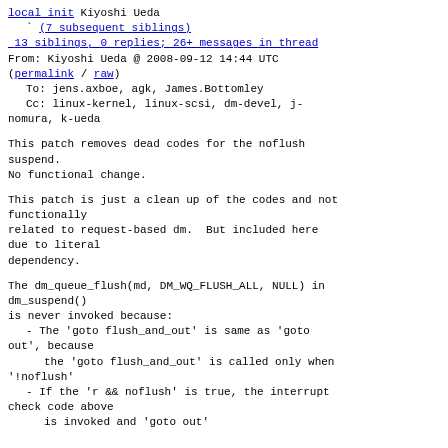local init Kiyoshi Ueda
  ` (7 subsequent siblings)
 13 siblings, 0 replies; 26+ messages in thread
From: Kiyoshi Ueda @ 2008-09-12 14:44 UTC
(permalink / raw)
  To: jens.axboe, agk, James.Bottomley
  Cc: linux-kernel, linux-scsi, dm-devel, j-nomura, k-ueda
This patch removes dead codes for the noflush suspend.
No functional change.
This patch is just a clean up of the codes and not functionally
related to request-based dm.  But included here due to literal
dependency.
The dm_queue_flush(md, DM_WQ_FLUSH_ALL, NULL) in dm_suspend()
is never invoked because:
  - The 'goto flush_and_out' is same as 'goto out', because
      the 'goto flush_and_out' is called only when '!noflush'
  - If the 'r && noflush' is true, the interrupt check code above
        is invoked and 'goto out'